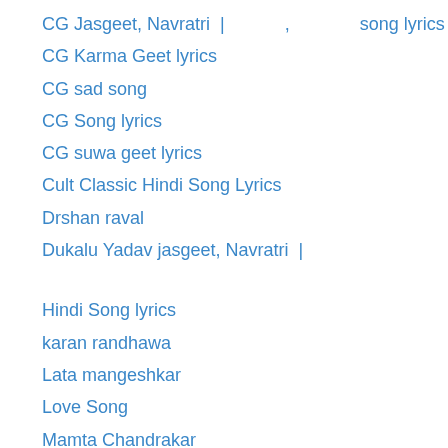CG Jasgeet, Navratri | , song lyrics
CG Karma Geet lyrics
CG sad song
CG Song lyrics
CG suwa geet lyrics
Cult Classic Hindi Song Lyrics
Drshan raval
Dukalu Yadav jasgeet, Navratri |
Hindi Song lyrics
karan randhawa
Lata mangeshkar
Love Song
Mamta Chandrakar